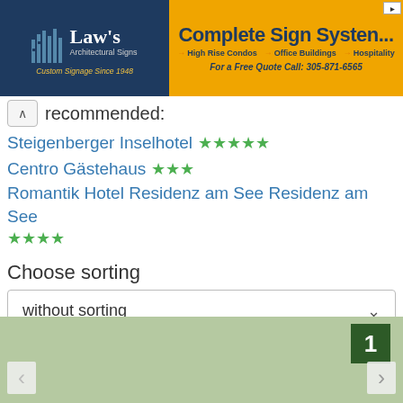[Figure (screenshot): Advertisement banner: Law's Architectural Signs (left, dark blue) and Complete Sign Systems (right, orange) with High Rise Condos, Office Buildings, Hospitality links and phone 305-871-6565]
Steigenberger Inselhotel ★★★★★
Centro Gästehaus ★★★
Romantik Hotel Residenz am See Residenz am See ★★★★
Choose sorting
without sorting
[Figure (map): Green map area with number badge '1', left and right navigation arrows]